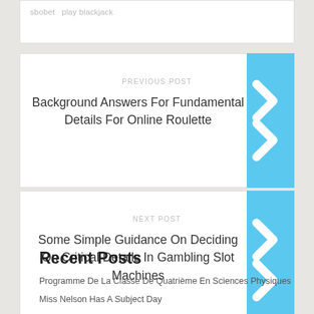sbobet   play blackjack
PREVIOUS POST
Background Answers For Fundamental Details For Online Roulette
NEXT POST
Some Simple Guidance On Deciding On Critical Details In Gambling Slot Machines
Recent Posts
Programme De La Classe De Quatrième En Sciences Physiques
Miss Nelson Has A Subject Day
No Title